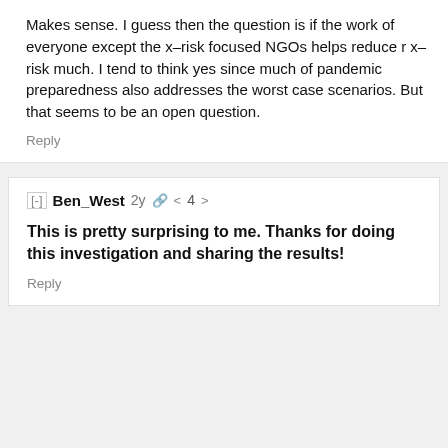Makes sense. I guess then the question is if the work of everyone except the x-risk focused NGOs helps reduce r x-risk much. I tend to think yes since much of pandemic preparedness also addresses the worst case scenarios. But that seems to be an open question.
Reply
[-] Ben_West 2y 🔗 < 4 >
This is pretty surprising to me. Thanks for doing this investigation and sharing the results!
Reply